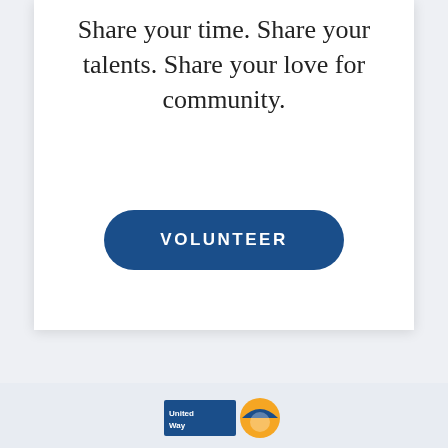Share your time. Share your talents. Share your love for community.
[Figure (other): Blue rounded rectangle button with white uppercase text reading VOLUNTEER]
[Figure (logo): United Way logo partially visible at bottom of page]